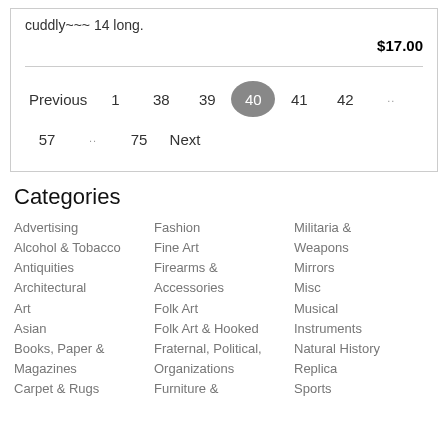cuddly~~~ 14 long.
$17.00
Previous 1 38 39 40 41 42 .. 57 .. 75 Next
Categories
Advertising
Alcohol & Tobacco
Antiquities
Architectural
Art
Asian
Books, Paper & Magazines
Carpet & Rugs
Fashion
Fine Art
Firearms & Accessories
Folk Art
Folk Art & Hooked
Fraternal, Political, Organizations
Furniture &
Militaria & Weapons
Mirrors
Misc
Musical Instruments
Natural History
Replica
Sports